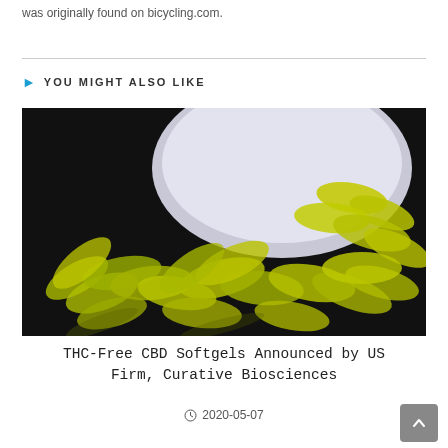was originally found on bicycling.com.
YOU MIGHT ALSO LIKE
[Figure (photo): Green/yellow softgel capsules spilling from a white pill container on a dark reflective surface.]
THC-Free CBD Softgels Announced by US Firm, Curative Biosciences
2020-05-07